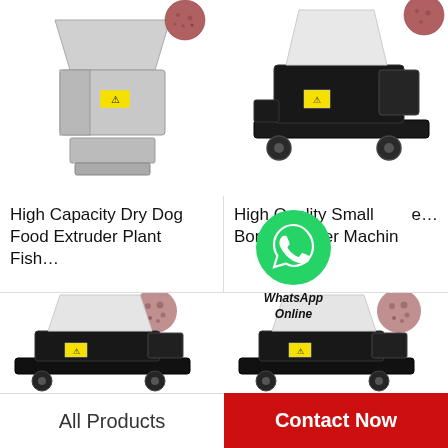[Figure (photo): Industrial dry dog food extruder / fish feed machine, stainless steel, top-view angle, white background]
[Figure (photo): High quality small bone crusher machine, black base with white hopper, white background]
High Capacity Dry Dog Food Extruder Plant Fish…
High Quality Small Bone Crusher Machine….
[Figure (photo): Bone crusher machine similar to top-right, with ground meat/bone output shown]
[Figure (photo): Bone crusher machine similar to top-right, second unit, with ground meat/bone output shown]
[Figure (logo): WhatsApp green circle logo with WhatsApp Online text overlay]
All Products
Contact Now